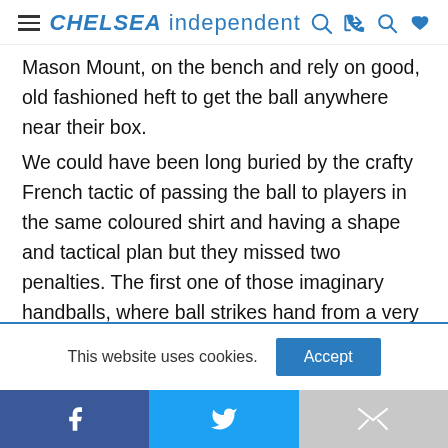CHELSEA independent
Mason Mount, on the bench and rely on good, old fashioned heft to get the ball anywhere near their box.
We could have been long buried by the crafty French tactic of passing the ball to players in the same coloured shirt and having a shape and tactical plan but they missed two penalties. The first one of those imaginary handballs, where ball strikes hand from a very short distance and from behind but the new breed of ignorant referee
This website uses cookies.
[Figure (other): Social share bar with Facebook, Twitter, and Gmail icons]